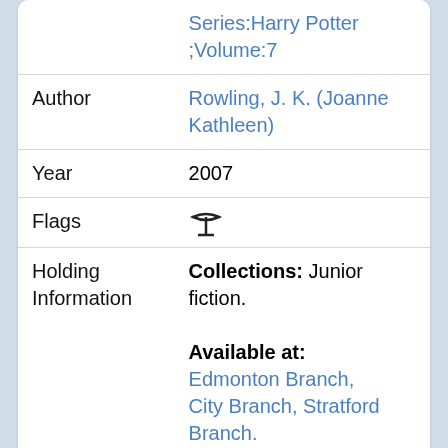| Field | Value |
| --- | --- |
|  | Series:Harry Potter ;Volume:7 |
| Author | Rowling, J. K. (Joanne Kathleen) |
| Year | 2007 |
| Flags | 🞏 |
| Holding Information | Collections: Junior fiction.
Available at:
Edmonton Branch, City Branch, Stratford Branch.
Number of Holdings: 6. |
[Figure (illustration): Harry Potter book cover with orange/fire background and a deer silhouette]